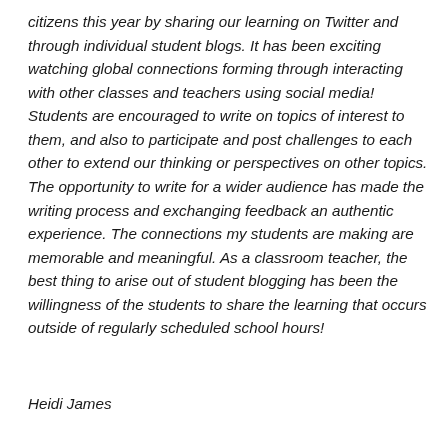citizens this year by sharing our learning on Twitter and through individual student blogs. It has been exciting watching global connections forming through interacting with other classes and teachers using social media! Students are encouraged to write on topics of interest to them, and also to participate and post challenges to each other to extend our thinking or perspectives on other topics. The opportunity to write for a wider audience has made the writing process and exchanging feedback an authentic experience. The connections my students are making are memorable and meaningful. As a classroom teacher, the best thing to arise out of student blogging has been the willingness of the students to share the learning that occurs outside of regularly scheduled school hours!
Heidi James